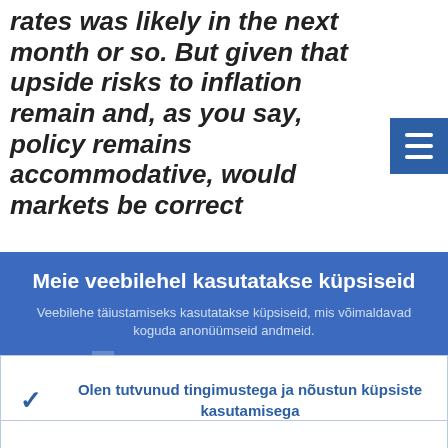rates was likely in the next month or so. But given that upside risks to inflation remain and, as you say, policy remains accommodative, would markets be correct
Meie veebilehel kasutatakse küpsiseid
Veebilehe täiustamiseks kasutatakse küpsiseid, mis võimaldavad koguda anonüümseid andmeid.
Lähemalt küpsiste kasutamise kohta
Olen tutvunud tingimustega ja nõustun küpsiste kasutamisega
Ei nõustu küpsiste kasutamisega